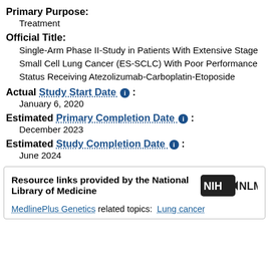Primary Purpose:
Treatment
Official Title:
Single-Arm Phase II-Study in Patients With Extensive Stage Small Cell Lung Cancer (ES-SCLC) With Poor Performance Status Receiving Atezolizumab-Carboplatin-Etoposide
Actual Study Start Date :
January 6, 2020
Estimated Primary Completion Date :
December 2023
Estimated Study Completion Date :
June 2024
Resource links provided by the National Library of Medicine
MedlinePlus Genetics related topics: Lung cancer